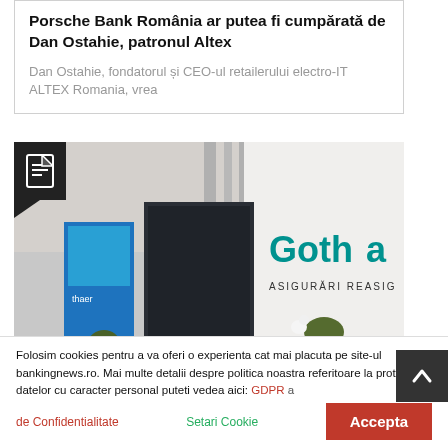Porsche Bank România ar putea fi cumpărată de Dan Ostahie, patronul Altex
Dan Ostahie, fondatorul și CEO-ul retailerului electro-IT ALTEX Romania, vrea
[Figure (photo): Interior of a corporate office reception area with Gothaer insurance branding visible on the wall]
Folosim cookies pentru a va oferi o experienta cat mai placuta pe site-ul bankingnews.ro. Mai multe detalii despre politica noastra referitoare la protectia datelor cu caracter personal puteti vedea aici: GDPR a de Confidentialitate     Setari Cookie     Accepta